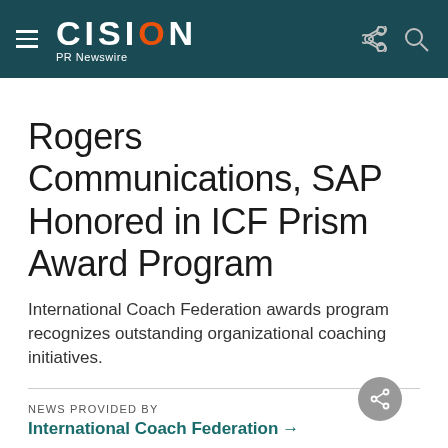CISION PR Newswire
Rogers Communications, SAP Honored in ICF Prism Award Program
International Coach Federation awards program recognizes outstanding organizational coaching initiatives.
NEWS PROVIDED BY
International Coach Federation →